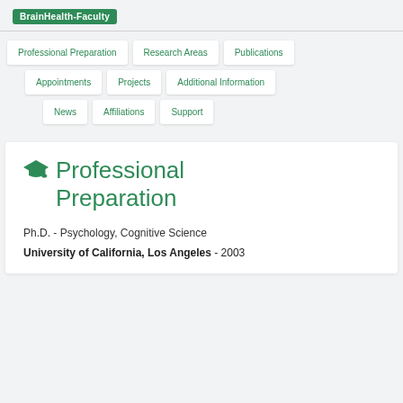BrainHealth-Faculty
Professional Preparation
Research Areas
Publications
Appointments
Projects
Additional Information
News
Affiliations
Support
Professional Preparation
Ph.D. - Psychology, Cognitive Science
University of California, Los Angeles - 2003